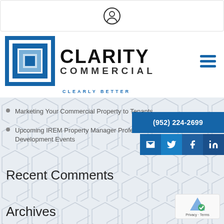[Figure (logo): Login/user icon button in a white bordered bar at the top of the page]
[Figure (logo): Clarity Commercial logo with blue geometric square icon, bold text CLARITY COMMERCIAL, tagline CLEARLY BETTER]
Marketing Your Commercial Property to Tenants
Upcoming IREM Property Manager Professional Development Events
(952) 224-2699
Recent Comments
Archives